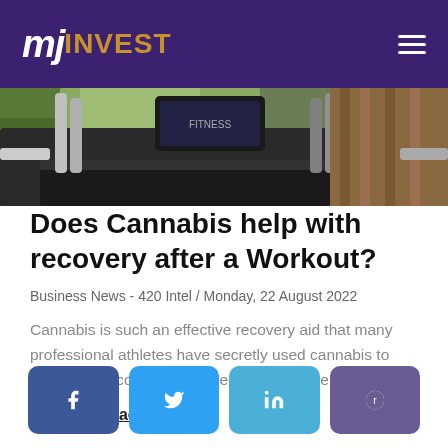mj INVEST
[Figure (photo): Treadmill gym equipment photo, partial view showing treadmill handles and screen in a gym setting]
Does Cannabis help with recovery after a Workout?
Business News - 420 Intel / Monday, 22 August 2022
Cannabis is such an effective recovery aid that many professional athletes have secretly used cannabis to help them recover, even when it might have c...
Continue reading
[Figure (infographic): Social share buttons: Facebook, Twitter, LinkedIn, Reddit]